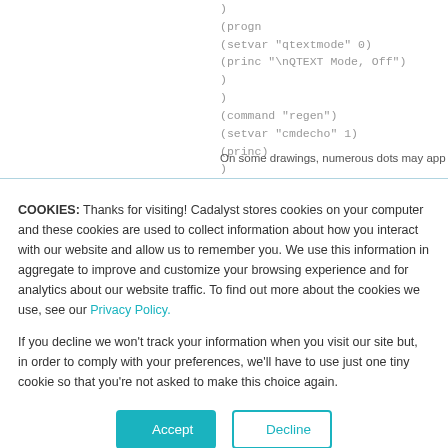)
(progn
(setvar "qtextmode" 0)
(princ "\nQTEXT Mode, Off")
)
)
(command "regen")
(setvar "cmdecho" 1)
(princ)
)
On some drawings, numerous dots may app
COOKIES: Thanks for visiting! Cadalyst stores cookies on your computer and these cookies are used to collect information about how you interact with our website and allow us to remember you. We use this information in aggregate to improve and customize your browsing experience and for analytics about our website traffic. To find out more about the cookies we use, see our Privacy Policy.
If you decline we won't track your information when you visit our site but, in order to comply with your preferences, we'll have to use just one tiny cookie so that you're not asked to make this choice again.